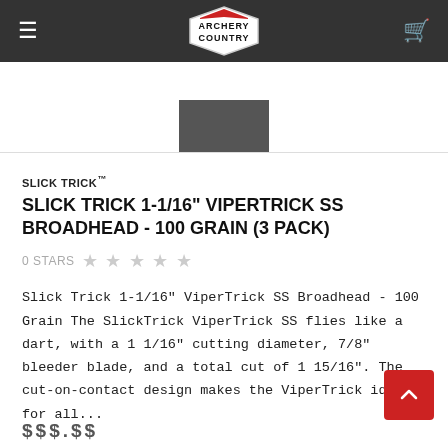Archery Country
[Figure (photo): Product image area showing partial view of broadhead product against white background]
SLICK TRICK™
SLICK TRICK 1-1/16" VIPERTRICK SS BROADHEAD - 100 GRAIN (3 PACK)
0 STARS
Slick Trick 1-1/16" ViperTrick SS Broadhead - 100 Grain The SlickTrick ViperTrick SS flies like a dart, with a 1 1/16" cutting diameter, 7/8" bleeder blade, and a total cut of 1 15/16". The cut-on-contact design makes the ViperTrick ideal for all...